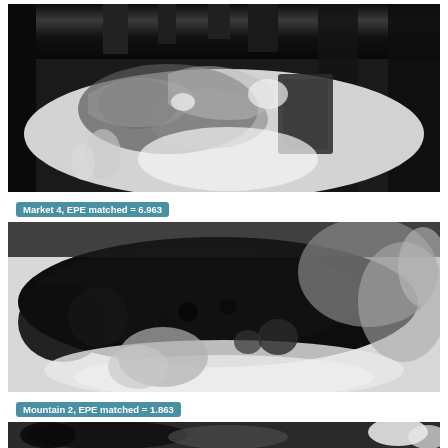[Figure (photo): Grayscale depth map or optical flow visualization showing a market scene with objects, leaves, and a basket. Scene labeled 'Market 4'.]
Market 4, EPE matched = 6.963
[Figure (photo): Grayscale depth map or optical flow visualization of a mountain scene with dark central region and lighter surroundings. Scene labeled 'Mountain 2'.]
Mountain 2, EPE matched = 1.863
[Figure (photo): Grayscale depth map or optical flow visualization of a third scene, partially visible at the bottom of the page, showing dark figures and a white element at the right.]